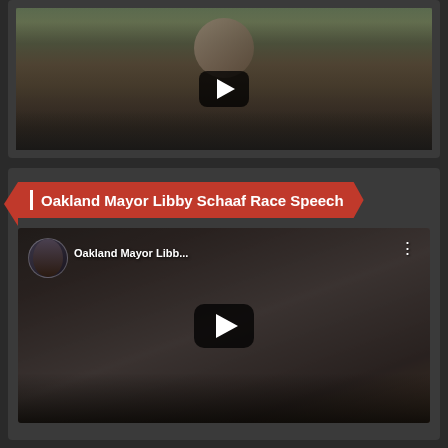[Figure (screenshot): YouTube video thumbnail showing a man's face outdoors with a play button overlay, dark background card]
[Figure (screenshot): YouTube video embed titled 'Oakland Mayor Libby Schaaf Race Speech' with red banner title, channel icon, video title 'Oakland Mayor Libb...' and play button overlay]